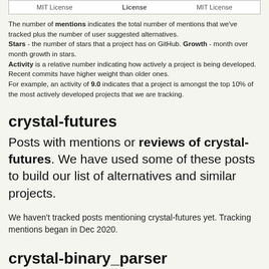| MIT License | License | MIT License |
| --- | --- | --- |
The number of mentions indicates the total number of mentions that we've tracked plus the number of user suggested alternatives. Stars - the number of stars that a project has on GitHub. Growth - month over month growth in stars. Activity is a relative number indicating how actively a project is being developed. Recent commits have higher weight than older ones. For example, an activity of 9.0 indicates that a project is amongst the top 10% of the most actively developed projects that we are tracking.
crystal-futures
Posts with mentions or reviews of crystal-futures. We have used some of these posts to build our list of alternatives and similar projects.
We haven't tracked posts mentioning crystal-futures yet. Tracking mentions began in Dec 2020.
crystal-binary_parser